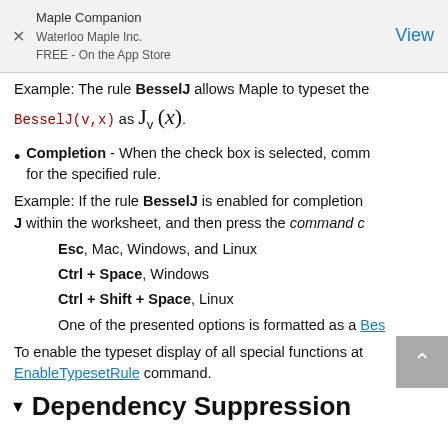Maple Companion
Waterloo Maple Inc.
FREE - On the App Store
Example: The rule BesselJ allows Maple to typeset the BesselJ(v,x) as J_v(x).
Completion - When the check box is selected, comm for the specified rule.
Example: If the rule BesselJ is enabled for completion, J within the worksheet, and then press the command c
Esc, Mac, Windows, and Linux
Ctrl + Space, Windows
Ctrl + Shift + Space, Linux
One of the presented options is formatted as a Bes
To enable the typeset display of all special functions at EnableTypesetRule command.
Dependency Suppression